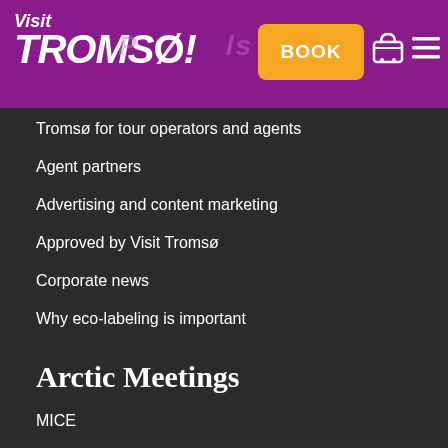Visit Tromsø! BOOK
Tromsø for tour operators and agents
Agent partners
Advertising and content marketing
Approved by Visit Tromsø
Corporate news
Why eco-labeling is important
Arctic Meetings
MICE
Where to meet us